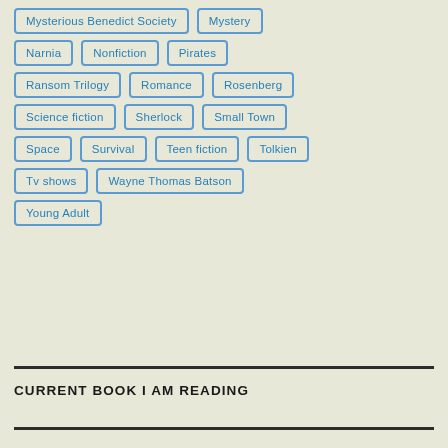Mysterious Benedict Society
Mystery
Narnia
Nonfiction
Pirates
Ransom Trilogy
Romance
Rosenberg
Science fiction
Sherlock
Small Town
Space
Survival
Teen fiction
Tolkien
Tv shows
Wayne Thomas Batson
Young Adult
CURRENT BOOK I AM READING